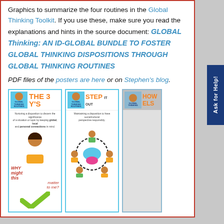Graphics to summarize the four routines in the Global Thinking Toolkit. If you use these, make sure you read the explanations and hints in the source document: GLOBAL Thinking: AN ID-GLOBAL BUNDLE TO FOSTER GLOBAL THINKING DISPOSITIONS THROUGH GLOBAL THINKING ROUTINES
PDF files of the posters are here or on Stephen's blog.
[Figure (illustration): Three educational poster thumbnails side by side. First poster: 'THE 3 Y'S' in orange, with a Global Thinking Routines logo, subtitle text about nurturing a disposition to discern the significance of a situation, and an illustrated figure with 'WHY might this matter to me?' text and a green checkmark. Second poster: 'STEP IT OUT' in orange, with similar logo, subtitle about maintaining a disposition to have social/cultural perspective responsibly, and an illustration of people in a circle. Third poster: partially visible, showing 'HOW ELS...' in orange on a gray background.]